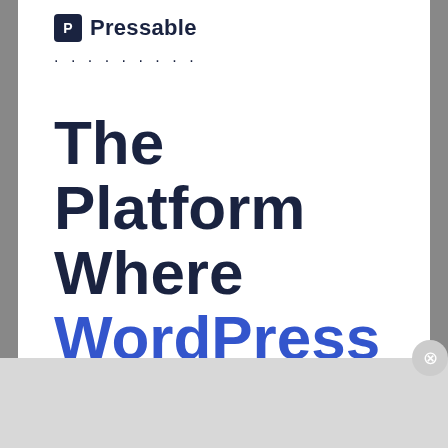[Figure (logo): Pressable logo: dark square icon with letter P followed by 'Pressable' text in dark navy]
. . . . . . . . .
The Platform Where WordPress Works Best
Advertisements
[Figure (screenshot): Pocket Casts ad banner: red background with text 'An app by listeners, for listeners.' and Pocket Casts logo on right, phone image in middle]